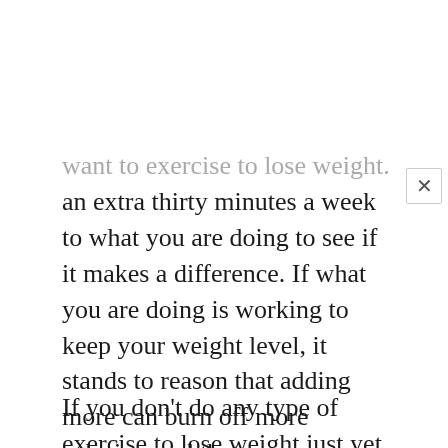want to exercise to lose weight. That means just adding an extra thirty minutes a week to what you are doing to see if it makes a difference. If what you are doing is working to keep your weight level, it stands to reason that adding more can burn off more calories, and that means you can lose. You may also want to change your type of workout when you want to exercise to lose weight to get a more intense calorie burn from your activities.
If you don't do any type of exercise to lose weight just yet, getting started does not have to be complicated or overly exhausting. You can start out with a simple walk each day, but do make sure you walk fast enough where you are not just going for a stroll. Walk a little faster than normal when you want to exercise to lose weight. You may be surprised